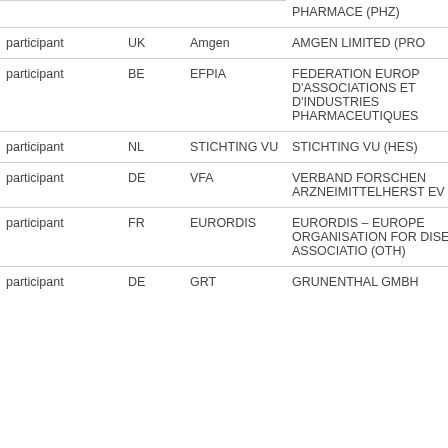| Role | Country | Short Name | Full Name |
| --- | --- | --- | --- |
| participant | UK | Amgen | AMGEN LIMITED (PRO... |
| participant | BE | EFPIA | FEDERATION EUROP... D'ASSOCIATIONS ET D'INDUSTRIES PHARMACEUTIQUES |
| participant | NL | STICHTING VU | STICHTING VU (HES) |
| participant | DE | VFA | VERBAND FORSCHEN... ARZNEIMITTELHERST... EV (OTH) |
| participant | FR | EURORDIS | EURORDIS – EUROPE... ORGANISATION FOR DISEASES ASSOCIATIO... (OTH) |
| participant | DE | GRT | GRUNENTHAL GMBH... |